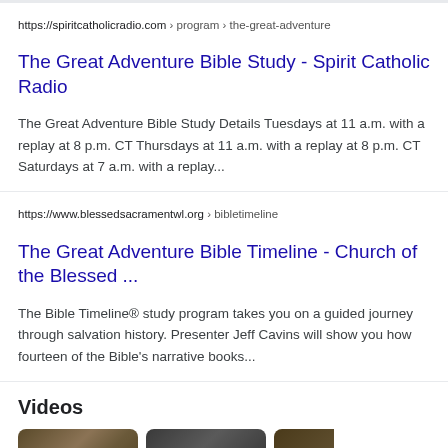https://spiritcatholicradio.com › program › the-great-adventure
The Great Adventure Bible Study - Spirit Catholic Radio
The Great Adventure Bible Study Details Tuesdays at 11 a.m. with a replay at 8 p.m. CT Thursdays at 11 a.m. with a replay at 8 p.m. CT Saturdays at 7 a.m. with a replay...
https://www.blessedsacramentwl.org › bibletimeline
The Great Adventure Bible Timeline - Church of the Blessed ...
The Bible Timeline® study program takes you on a guided journey through salvation history. Presenter Jeff Cavins will show you how fourteen of the Bible's narrative books...
Videos
[Figure (photo): Three video thumbnails partially visible at bottom of page]